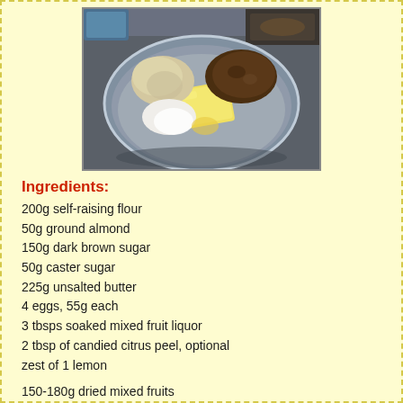[Figure (photo): Overhead view of a glass mixing bowl containing baking ingredients including butter, dark brown sugar, ground almond, and other ingredients on a dark surface, with eggs visible in background]
Ingredients:
200g self-raising flour
50g ground almond
150g dark brown sugar
50g caster sugar
225g unsalted butter
4 eggs, 55g each
3 tbsps soaked mixed fruit liquor
2 tbsp of candied citrus peel, optional
zest of 1 lemon
150-180g dried mixed fruits
100ml of Rum